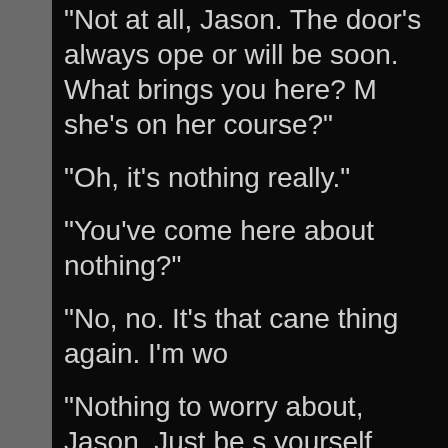“Not at all, Jason.  The door’s always open, or will be soon.  What brings you here?  M she’s on her course?”
“Oh, it’s nothing really.”
“You’ve come here about nothing?”
“No, no.  It’s that cane thing again.  I’m wo
“Nothing to worry about, Jason.  Just be s yourself.  Come and sit down.  Let’s talk.”
“What’s worrying me is, it’s going to hurt.”
“Yes…”
“Well, I don’t want to embarrass myself in does decide to use it, I need to kno